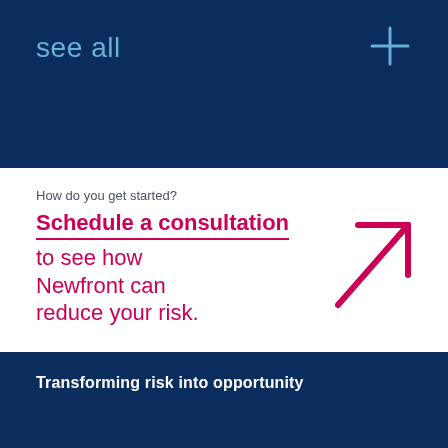see all
How do you get started?
Schedule a consultation to see how Newfront can reduce your risk.
Transforming risk into opportunity